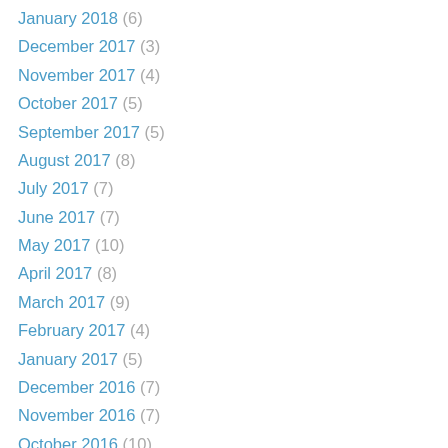January 2018 (6)
December 2017 (3)
November 2017 (4)
October 2017 (5)
September 2017 (5)
August 2017 (8)
July 2017 (7)
June 2017 (7)
May 2017 (10)
April 2017 (8)
March 2017 (9)
February 2017 (4)
January 2017 (5)
December 2016 (7)
November 2016 (7)
October 2016 (10)
September 2016 (7)
August 2016 (11)
July 2016 (8)
June 2016 (7)